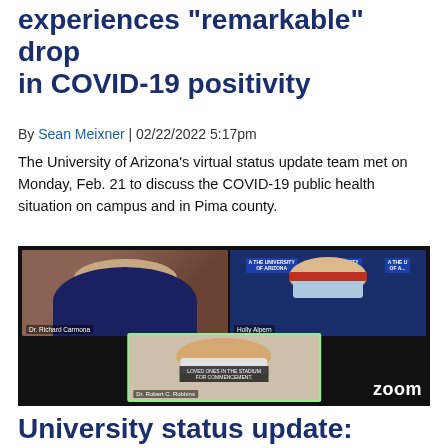University status update: on experiences “remarkable” drop in COVID-19 positivity
By Sean Meixner | 02/22/2022 5:17pm
The University of Arizona’s virtual status update team met on Monday, Feb. 21 to discuss the COVID-19 public health situation on campus and in Pima county.
[Figure (photo): Zoom screenshot showing three University of Arizona officials wearing masks: Dr. Richard Carmona (top left), Holly Alpern (top right), and Dr. Robert C. Robbins (bottom center, in active speaker frame). Text bar reads: LOVED ONES IN THE STADIUM FOR COMMENCEMENT. Zoom logo visible in bottom right.]
University status update: